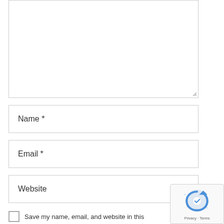[Figure (screenshot): Large empty textarea input field with resize handle at bottom right]
Name *
Email *
Website
Save my name, email, and website in this
[Figure (logo): reCAPTCHA badge with logo, Privacy and Terms links]